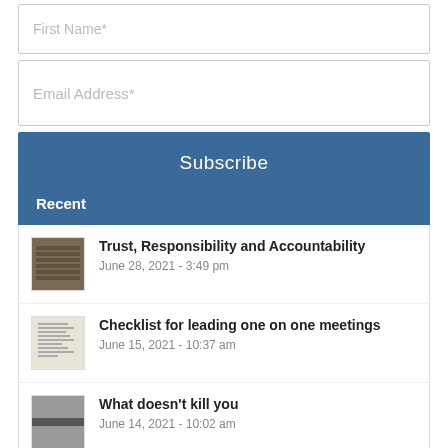First Name*
Email Address*
Subscribe
Recent
Trust, Responsibility and Accountability
June 28, 2021 - 3:49 pm
Checklist for leading one on one meetings
June 15, 2021 - 10:37 am
What doesn't kill you
June 14, 2021 - 10:02 am
Don't talk about Doom and Gloom – Act!
May 19, 2021 - 12:12 pm